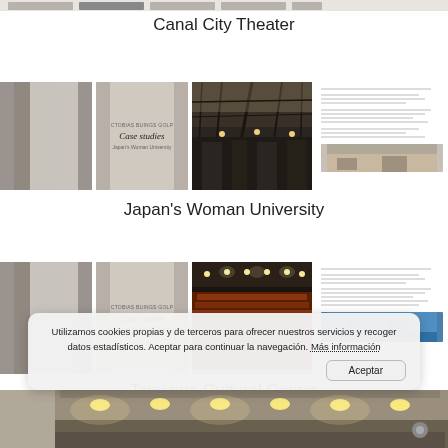Canal City Theater
[Figure (screenshot): Row of document/book thumbnails for Canal City Theater case study (partially visible at top)]
Japan's Woman University
[Figure (screenshot): Row of document/book thumbnails for Japan's Woman University case study showing cover pages and interior photo of a glass-roofed atrium]
Tsuvama Cultural Center
[Figure (screenshot): Row of document/book thumbnails for Tsuvama Cultural Center case study showing cover pages and interior photo of an auditorium with tiered seating]
Utilizamos cookies propias y de terceros para ofrecer nuestros servicios y recoger datos estadísticos. Aceptar para continuar la navegación. Más información  Aceptar
[Figure (photo): Bottom partial photo of an interior space with ceiling lights]